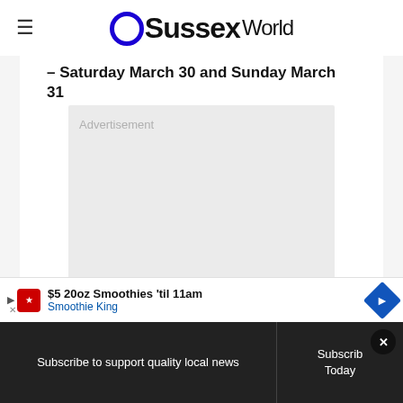OSussexWorld
– Saturday March 30 and Sunday March 31
[Figure (other): Advertisement placeholder box]
[Figure (other): Smoothie King advertisement banner: $5 20oz Smoothies 'til 11am, Smoothie King]
Subscribe to support quality local news | Subscribe Today